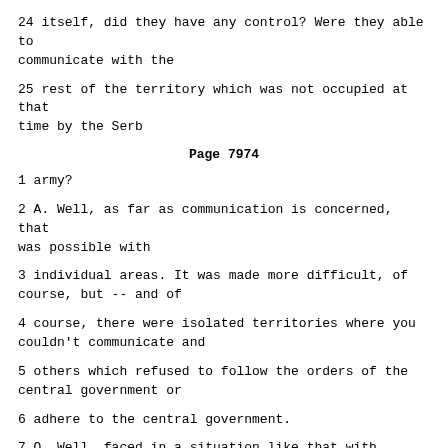24 itself, did they have any control? Were they able to communicate with the
25 rest of the territory which was not occupied at that time by the Serb
Page 7974
1 army?
2 A. Well, as far as communication is concerned, that was possible with
3 individual areas. It was made more difficult, of course, but -- and of
4 course, there were isolated territories where you couldn't communicate and
5 others which refused to follow the orders of the central government or
6 adhere to the central government.
7 Q. Well, faced in a situation like that with Sarajevo under siege,
8 was it possible for the government or Presidency - and did they, in fact,
9 do anything - to assist in the defence of Mostar, to defend it from the